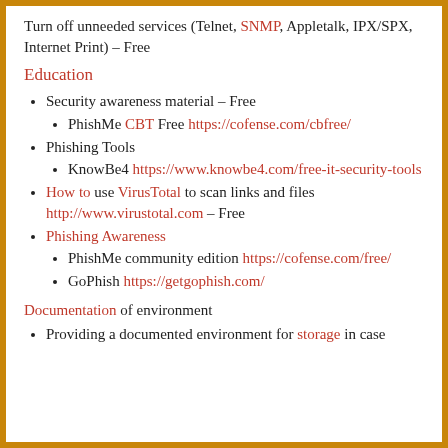Turn off unneeded services (Telnet, SNMP, Appletalk, IPX/SPX, Internet Print) – Free
Education
Security awareness material – Free
PhishMe CBT Free https://cofense.com/cbfree/
Phishing Tools
KnowBe4 https://www.knowbe4.com/free-it-security-tools
How to use VirusTotal to scan links and files http://www.virustotal.com – Free
Phishing Awareness
PhishMe community edition https://cofense.com/free/
GoPhish https://getgophish.com/
Documentation of environment
Providing a documented environment for storage in case